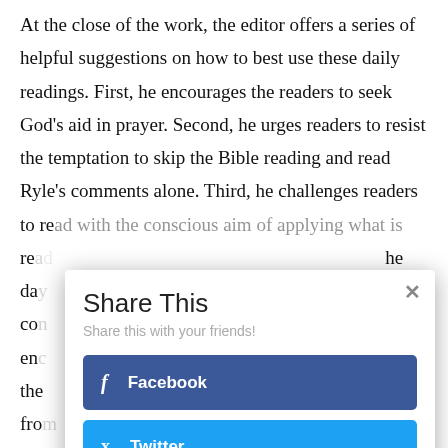At the close of the work, the editor offers a series of helpful suggestions on how to best use these daily readings. First, he encourages the readers to seek God's aid in prayer. Second, he urges readers to resist the temptation to skip the Bible reading and read Ryle's comments alone. Third, he challenges readers to read with the conscious aim of applying what is read to the heart, day by day, consistently encouraging the reader to benefit from...
[Figure (screenshot): A 'Share This' modal dialog overlaying the text. Contains title 'Share This', subtitle 'Share this with your friends!', a blue Facebook button with 'f' icon and text 'Facebook', and a cyan Twitter button with bird icon and text 'Twitter'. A close (×) button is in the top right corner.]